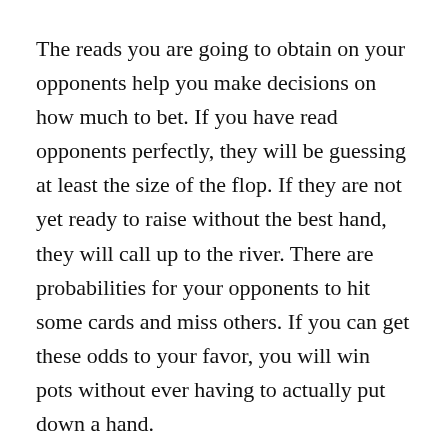The reads you are going to obtain on your opponents help you make decisions on how much to bet. If you have read opponents perfectly, they will be guessing at least the size of the flop. If they are not yet ready to raise without the best hand, they will call up to the river. There are probabilities for your opponents to hit some cards and miss others. If you can get these odds to your favor, you will win pots without ever having to actually put down a hand.
The size of the bet required to get your opponent to fold is not as daunting as you think. Teasing your opponent betwise works best. Calling all the way up to the river for as